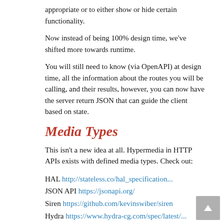appropriate or to either show or hide certain functionality.
Now instead of being 100% design time, we've shifted more towards runtime.
You will still need to know (via OpenAPI) at design time, all the information about the routes you will be calling, and their results, however, you can now have the server return JSON that can guide the client based on state.
Media Types
This isn't a new idea at all. Hypermedia in HTTP APIs exists with defined media types. Check out:
HAL http://stateless.co/hal_specification...
JSON API https://jsonapi.org/
Siren https://github.com/kevinswiber/siren
Hydra https://www.hydra-cg.com/spec/latest/...
JSON-LD https://json-ld.org/